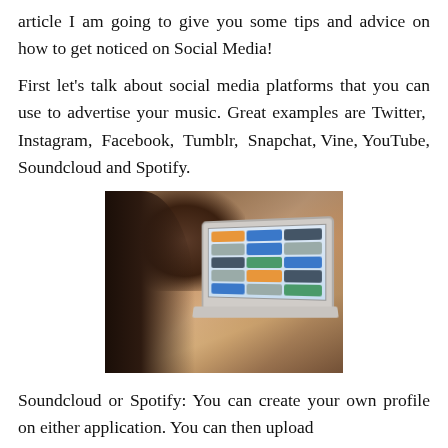article I am going to give you some tips and advice on how to get noticed on Social Media!
First let's talk about social media platforms that you can use to advertise your music. Great examples are Twitter, Instagram, Facebook, Tumblr, Snapchat, Vine, YouTube, Soundcloud and Spotify.
[Figure (photo): Person using a MacBook laptop with social media apps visible on screen, other people in blurred background, warm dark tones]
Soundcloud or Spotify: You can create your own profile on either application. You can then upload